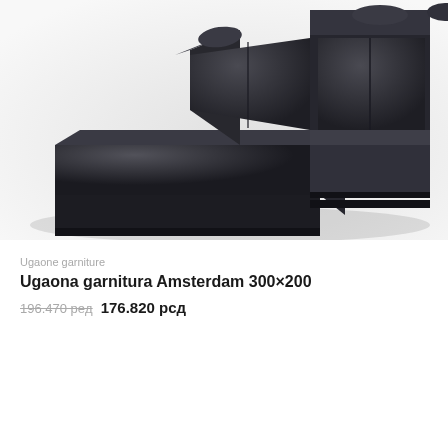[Figure (photo): Dark charcoal/black L-shaped sectional sofa (corner sofa) with chaise lounge, viewed from a slightly elevated angle on a white background. The sofa has a modern, low-profile design with clean lines and velvet-like upholstery.]
Ugaone garniture
Ugaona garnitura Amsterdam 300×200
196.470 рeд  176.820 рсд